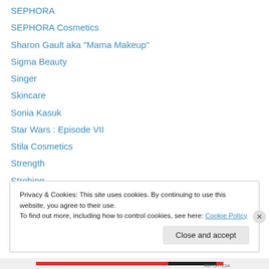SEPHORA
SEPHORA Cosmetics
Sharon Gault aka "Mama Makeup"
Sigma Beauty
Singer
Skincare
Sonia Kasuk
Star Wars : Episode VII
Stila Cosmetics
Strength
Strobing
Summer Makeup
Super Models
Privacy & Cookies: This site uses cookies. By continuing to use this website, you agree to their use.
To find out more, including how to control cookies, see here: Cookie Policy